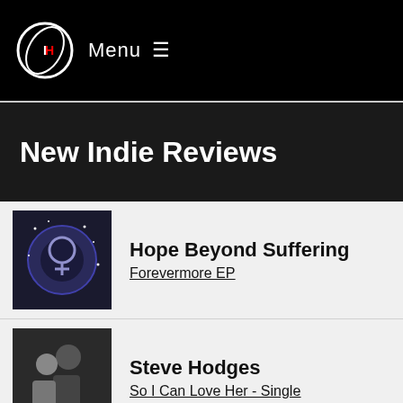Menu
New Indie Reviews
Hope Beyond Suffering / Forevermore EP
Steve Hodges / So I Can Love Her - Single
Nathan Wheeler / Nathan Wheeler EP
Amanda Danziger